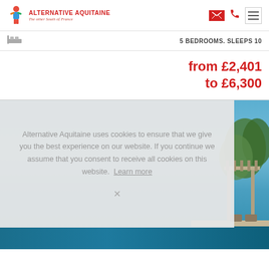ALTERNATIVE AQUITAINE — The other South of France
5 BEDROOMS. SLEEPS 10
from £2,401 to £6,300
[Figure (photo): Outdoor pool area with blue sky, trees and pergola structure on right side. Cookie consent overlay on left portion of photo.]
Alternative Aquitaine uses cookies to ensure that we give you the best experience on our website. If you continue we assume that you consent to receive all cookies on this website. Learn more
X